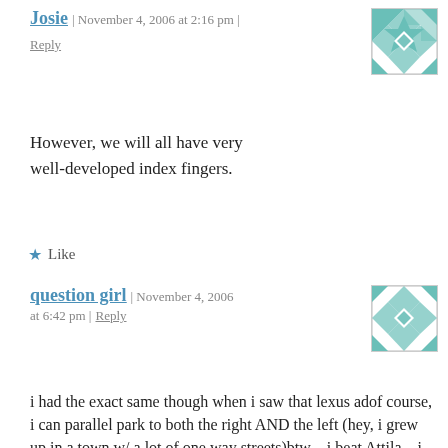Josie | November 4, 2006 at 2:16 pm | Reply
However, we will all have very well-developed index fingers.
★  Like
question girl | November 4, 2006 at 6:42 pm | Reply
i had the exact same though when i saw that lexus adof course, i can parallel park to both the right AND the left (hey, i grew up in a town w/ a lot of one way streets)btw – i beat Attila – i was 7 when my dad got the beta maxi actually had a